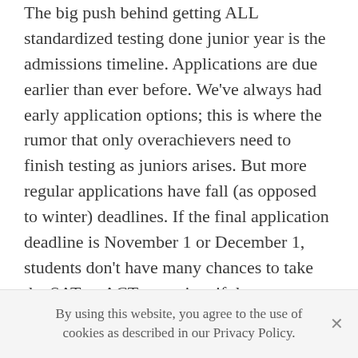The big push behind getting ALL standardized testing done junior year is the admissions timeline. Applications are due earlier than ever before. We've always had early application options; this is where the rumor that only overachievers need to finish testing as juniors arises. But more regular applications have fall (as opposed to winter) deadlines. If the final application deadline is November 1 or December 1, students don't have many chances to take the SAT or ACT as seniors if they want to apply on time. Additionally, I'm seeing lots of students apply to state universities in August, September, and October in hopes of getting early notification of acceptance, or at least to be understood in it. Students should...
By using this website, you agree to the use of cookies as described in our Privacy Policy.